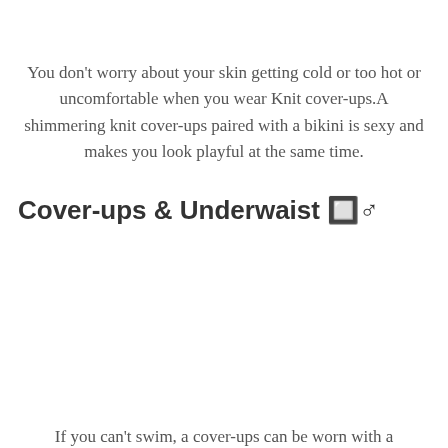You don't worry about your skin getting cold or too hot or uncomfortable when you wear Knit cover-ups.A shimmering knit cover-ups paired with a bikini is sexy and makes you look playful at the same time.
Cover-ups & Underwaist 🔲♂
If you can't swim, a cover-ups can be worn with a